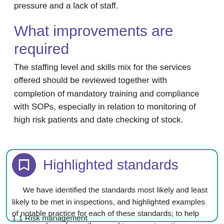pressure and a lack of staff.
What improvements are required
The staffing level and skills mix for the services offered should be reviewed together with completion of mandatory training and compliance with SOPs, especially in relation to monitoring of high risk patients and date checking of stock.
Highlighted standards
We have identified the standards most likely and least likely to be met in inspections, and highlighted examples of notable practice for each of these standards; to help everyone learn from others and to support continuous improvement:
1.1 Risk management